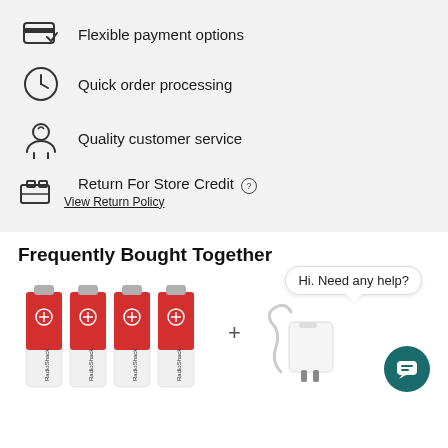Flexible payment options
Quick order processing
Quality customer service
Return For Store Credit ? View Return Policy
Frequently Bought Together
[Figure (photo): Four red and white RadioShack AA batteries side by side]
[Figure (photo): White USB charger/power adapter with cable; chat bubble saying 'Hi. Need any help?' and teal chat icon]